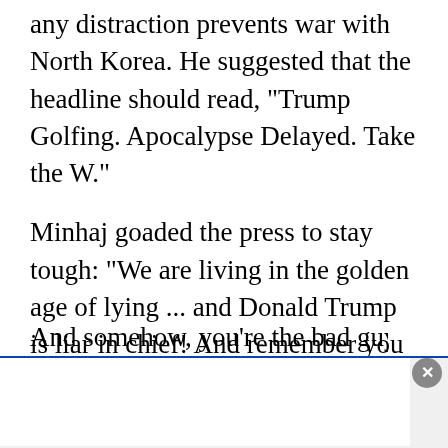any distraction prevents war with North Korea. He suggested that the headline should read, "Trump Golfing. Apocalypse Delayed. Take the W."
Minhaj goaded the press to stay tough: "We are living in the golden age of lying ... and Donald Trump is liar in chief! And remember you guys are public enemy No. 1. You are his biggest enemy. Journalists, ISIS, normal-length ties. And somehow, you're the bad guys